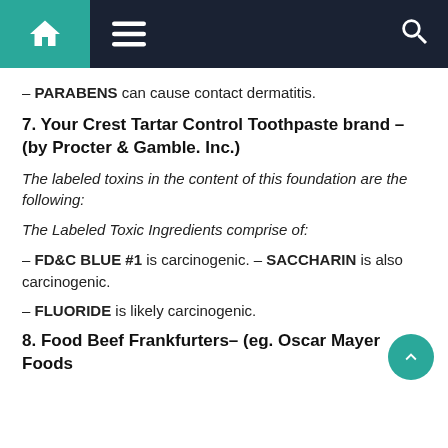Navigation bar with home, menu, and search icons
– PARABENS can cause contact dermatitis.
7. Your Crest Tartar Control Toothpaste brand – (by Procter & Gamble. Inc.)
The labeled toxins in the content of this foundation are the following:
The Labeled Toxic Ingredients comprise of:
– FD&C BLUE #1 is carcinogenic. – SACCHARIN is also carcinogenic.
– FLUORIDE is likely carcinogenic.
8. Food Beef Frankfurters– (eg. Oscar Mayer Foods